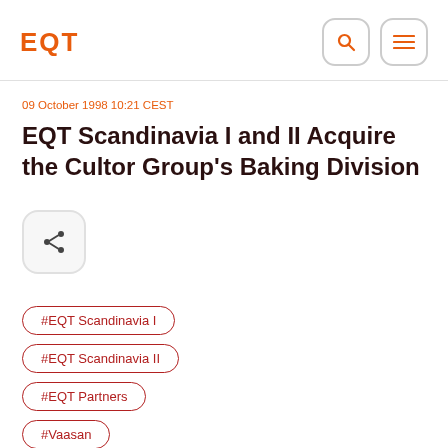EQT
09 October 1998 10:21 CEST
EQT Scandinavia I and II Acquire the Cultor Group's Baking Division
#EQT Scandinavia I
#EQT Scandinavia II
#EQT Partners
#Vaasan